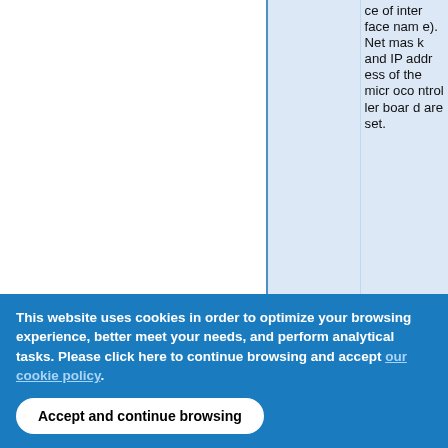|  |  | ce of interface name). Netmask and IP address of the microcontroller board are set. |
This website uses cookies in order to optimize your browsing experience, better meet your needs, and perform analytical tasks. Please click here to continue browsing and accept our cookie policy.
Accept and continue browsing